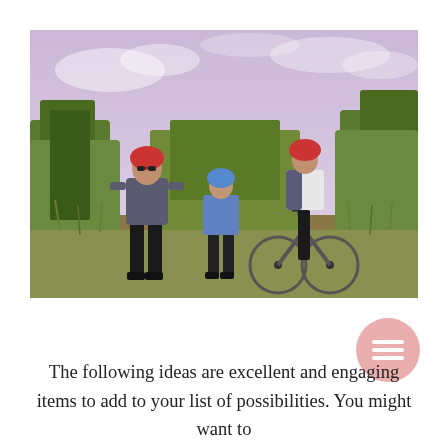[Figure (photo): Three people (an adult and two children) wearing cycling helmets standing on a dirt trail outdoors surrounded by tall grass and trees with a purple-tinted sky. One child is on a bicycle.]
[Figure (other): Pink/salmon circular button with three horizontal lines (hamburger menu icon)]
The following ideas are excellent and engaging items to add to your list of possibilities. You might want to